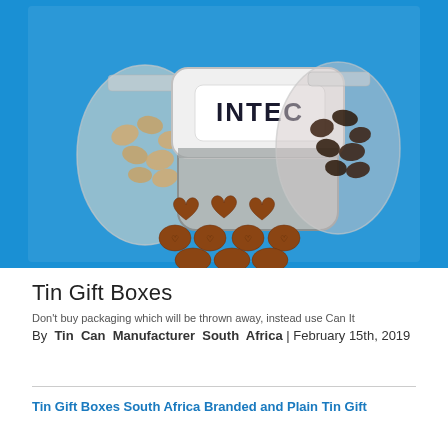[Figure (photo): Photo of an INTEC branded tin gift box (square metal tin with white lid showing INTEC logo in bold black text), flanked by two clear plastic bags containing nuts/cashews (left) and dark chocolate/coffee beans (right), with several milk chocolate pieces arranged in front on a bright blue background: three heart-shaped chocolates in a row, four oval/round chocolates in a middle row, and three oval chocolates in a bottom row.]
Tin Gift Boxes
Don't buy packaging which will be thrown away, instead use Can It
By Tin Can Manufacturer South Africa | February 15th, 2019
Tin Gift Boxes South Africa Branded and Plain Tin Gift